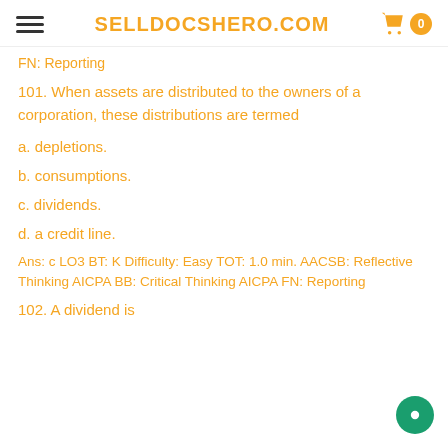SELLDOCSHERO.COM
FN: Reporting
101. When assets are distributed to the owners of a corporation, these distributions are termed
a. depletions.
b. consumptions.
c. dividends.
d. a credit line.
Ans: c LO3 BT: K Difficulty: Easy TOT: 1.0 min. AACSB: Reflective Thinking AICPA BB: Critical Thinking AICPA FN: Reporting
102. A dividend is